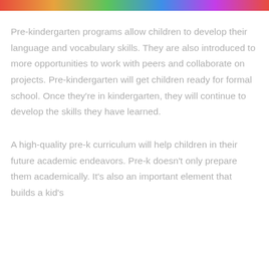[Figure (photo): Colorful image strip at the top of the page, appearing to show children or a classroom scene with red, orange, green, and blue colors.]
Pre-kindergarten programs allow children to develop their language and vocabulary skills. They are also introduced to more opportunities to work with peers and collaborate on projects. Pre-kindergarten will get children ready for formal school. Once they're in kindergarten, they will continue to develop the skills they have learned.
A high-quality pre-k curriculum will help children in their future academic endeavors. Pre-k doesn't only prepare them academically. It's also an important element that builds a kid's